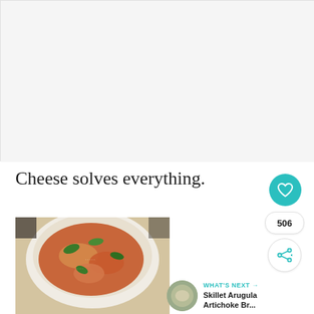[Figure (photo): Large white/light gray background area representing a top image placeholder]
Cheese solves everything.
[Figure (photo): Food photo showing pasta or tortellini dish with spinach, tomato sauce, and grated cheese in a white bowl]
506
WHAT'S NEXT → Skillet Arugula Artichoke Br...